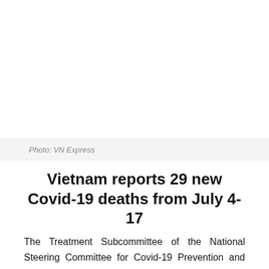[Figure (photo): Placeholder white space for a photo (image not visible in this portion of the page)]
Photo: VN Express
Vietnam reports 29 new Covid-19 deaths from July 4-17
The Treatment Subcommittee of the National Steering Committee for Covid-19 Prevention and Control on July 18 announced 29 more Covid-19 deaths.